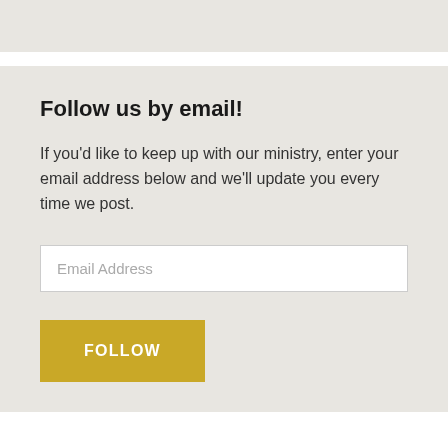Follow us by email!
If you'd like to keep up with our ministry, enter your email address below and we'll update you every time we post.
[Figure (other): Email address input field with placeholder text 'Email Address' and a gold 'FOLLOW' button below it]